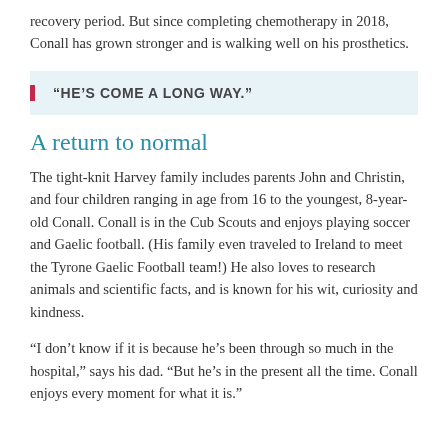recovery period. But since completing chemotherapy in 2018, Conall has grown stronger and is walking well on his prosthetics.
“HE’S COME A LONG WAY.”
A return to normal
The tight-knit Harvey family includes parents John and Christin, and four children ranging in age from 16 to the youngest, 8-year-old Conall. Conall is in the Cub Scouts and enjoys playing soccer and Gaelic football. (His family even traveled to Ireland to meet the Tyrone Gaelic Football team!) He also loves to research animals and scientific facts, and is known for his wit, curiosity and kindness.
“I don’t know if it is because he’s been through so much in the hospital,” says his dad. “But he’s in the present all the time. Conall enjoys every moment for what it is.”